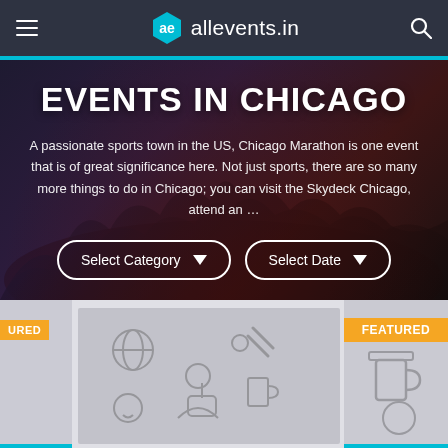allevents.in
EVENTS IN CHICAGO
A passionate sports town in the US, Chicago Marathon is one event that is of great significance here. Not just sports, there are so many more things to do in Chicago; you can visit the Skydeck Chicago, attend an …
[Figure (screenshot): Two dropdown filter buttons: 'Select Category' and 'Select Date' with dropdown arrows, white border on dark hero background]
[Figure (screenshot): Event cards section showing partially visible cards with icons (globe, tools, person, beer mug, theater masks, etc.) on gray background. Two cards show orange FEATURED badges.]